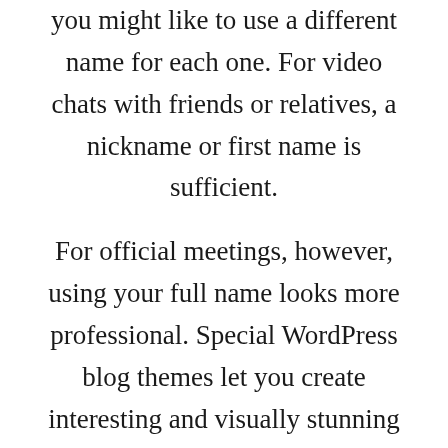you might like to use a different name for each one. For video chats with friends or relatives, a nickname or first name is sufficient.
For official meetings, however, using your full name looks more professional. Special WordPress blog themes let you create interesting and visually stunning online logs You can turn off comments for individual pages or posts or for your entire website. Keep reading to find out how Our WordPress